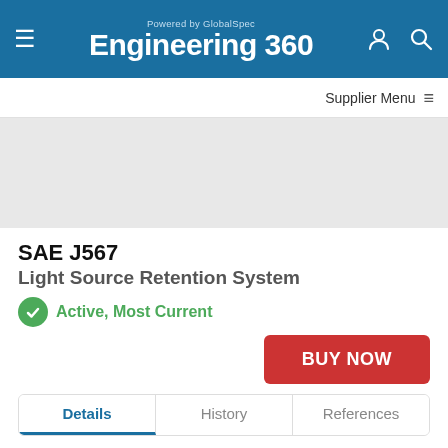Powered by GlobalSpec Engineering 360
Supplier Menu
SAE J567
Light Source Retention System
Active, Most Current
BUY NOW
Details | History | References
| Field | Value |
| --- | --- |
| Organization: | SAE |
| Publication Date: | 1 February 2015 |
| Status: | Active |